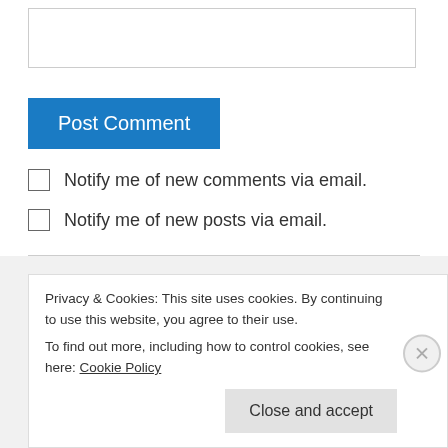[Figure (other): Empty textarea input box for comment]
Post Comment
Notify me of new comments via email.
Notify me of new posts via email.
Kelly O'Brien on June 11, 2012 at 3:57 pm
Hercules and She-hulk for the win!!
Privacy & Cookies: This site uses cookies. By continuing to use this website, you agree to their use.
To find out more, including how to control cookies, see here: Cookie Policy
Close and accept